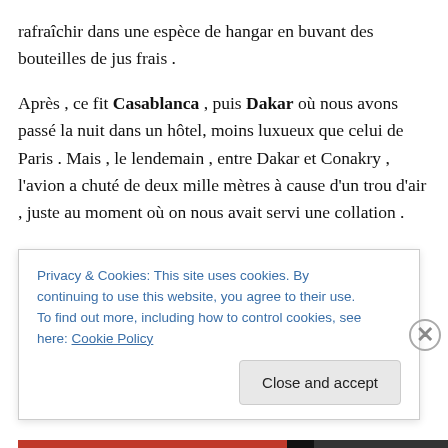rafraîchir dans une espèce de hangar en buvant des bouteilles de jus frais .
Après , ce fit Casablanca , puis Dakar où nous avons passé la nuit dans un hôtel, moins luxueux que celui de Paris . Mais , le lendemain , entre Dakar et Conakry , l'avion a chuté de deux mille mètres à cause d'un trou d'air , juste au moment où on nous avait servi une collation .
Alors ce fut une pagaille des plus affreuse et en même temps des plus rigolotes parce que le passager qui se
Privacy & Cookies: This site uses cookies. By continuing to use this website, you agree to their use.
To find out more, including how to control cookies, see here: Cookie Policy